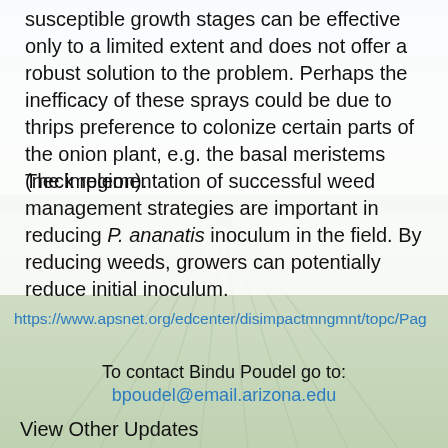susceptible growth stages can be effective only to a limited extent and does not offer a robust solution to the problem. Perhaps the inefficacy of these sprays could be due to thrips preference to colonize certain parts of the onion plant, e.g. the basal meristems (neck region).
The implementation of successful weed management strategies are important in reducing P. ananatis inoculum in the field. By reducing weeds, growers can potentially reduce initial inoculum.
[Figure (photo): Agricultural field with crop rows extending to the horizon, faded/washed out appearance used as background image]
https://www.apsnet.org/edcenter/disimpactmngmnt/topc/Pag
To contact Bindu Poudel go to:
bpoudel@email.arizona.edu
View Other Updates